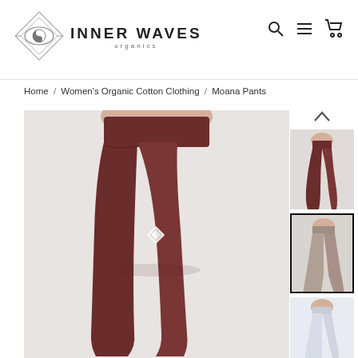[Figure (logo): Inner Waves Organics logo — diamond/eye shape with yin-yang symbol, brand name INNER WAVES ORGANICS in uppercase, with navigation icons (search, hamburger menu, cart) at top right]
Home / Women's Organic Cotton Clothing / Moana Pants
[Figure (photo): Close-up side view of a woman wearing dark maroon/burgundy high-waist yoga pants (Moana Pants) with a small diamond logo patch on the hip, against a light grey background]
[Figure (photo): Thumbnail 1: Side view of full-length dark maroon pants on a model]
[Figure (photo): Thumbnail 2 (selected): Front view of full-length dusty mauve/grey pants on a model — currently selected thumbnail with black border]
[Figure (photo): Thumbnail 3: Partial view of light/white pants on a model]